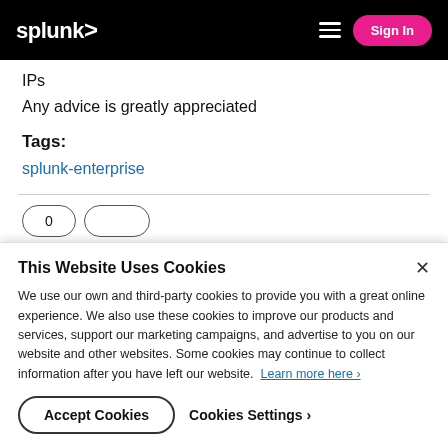splunk> | Sign In
IPs
Any advice is greatly appreciated
Tags:
splunk-enterprise
This Website Uses Cookies
We use our own and third-party cookies to provide you with a great online experience. We also use these cookies to improve our products and services, support our marketing campaigns, and advertise to you on our website and other websites. Some cookies may continue to collect information after you have left our website. Learn more here ›
Accept Cookies | Cookies Settings ›